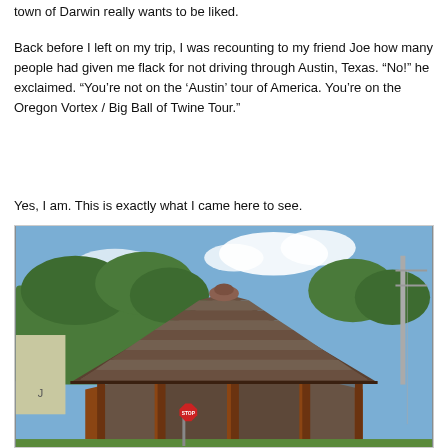town of Darwin really wants to be liked.
Back before I left on my trip, I was recounting to my friend Joe how many people had given me flack for not driving through Austin, Texas. “No!” he exclaimed. “You’re not on the ‘Austin’ tour of America. You’re on the Oregon Vortex / Big Ball of Twine Tour.”
Yes, I am. This is exactly what I came here to see.
[Figure (photo): A wooden gazebo with a shingled pyramid-style roof photographed outdoors on a sunny day. Trees and a stop sign are visible in the background, along with power lines and a neighboring building.]